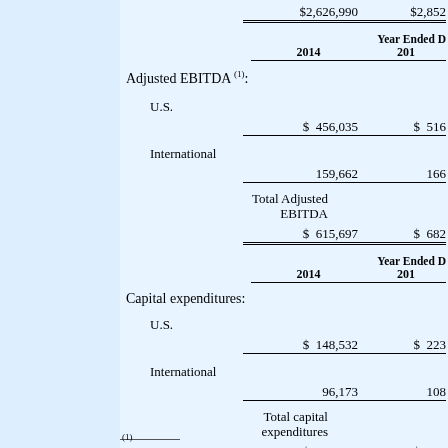|  | Year Ended D 2014 | Year Ended D 201 |
| --- | --- | --- |
|  | $2,626,990 | $2,852 |
| Adjusted EBITDA (1): |  |  |
| U.S. | $ 456,035 | $ 516 |
| International | 159,662 | 166 |
| Total Adjusted EBITDA | $ 615,697 | $ 682 |
| Capital expenditures: |  |  |
| U.S. | $ 148,532 | $ 223 |
| International | 96,173 | 108 |
| Total capital expenditures | $ 244,705 | $ 331 |